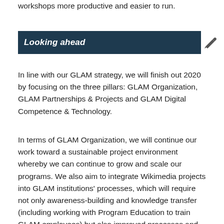workshops more productive and easier to run.
Looking ahead
In line with our GLAM strategy, we will finish out 2020 by focusing on the three pillars: GLAM Organization, GLAM Partnerships & Projects and GLAM Digital Competence & Technology.
In terms of GLAM Organization, we will continue our work toward a sustainable project environment whereby we can continue to grow and scale our programs. We also aim to integrate Wikimedia projects into GLAM institutions' processes, which will require not only awareness-building and knowledge transfer (including working with Program Education to train GLAM employees) but also improved processes and policies within Wikimedia CH.